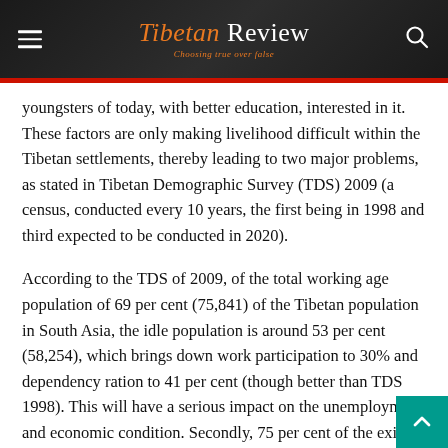Tibetan Review — Choosing true over false
youngsters of today, with better education, interested in it. These factors are only making livelihood difficult within the Tibetan settlements, thereby leading to two major problems, as stated in Tibetan Demographic Survey (TDS) 2009 (a census, conducted every 10 years, the first being in 1998 and third expected to be conducted in 2020).
According to the TDS of 2009, of the total working age population of 69 per cent (75,841) of the Tibetan population in South Asia, the idle population is around 53 per cent (58,254), which brings down work participation to 30% and dependency ration to 41 per cent (though better than TDS 1998). This will have a serious impact on the unemployment and economic condition. Secondly, 75 per cent of the exile population has migrated, (domestic and international) of